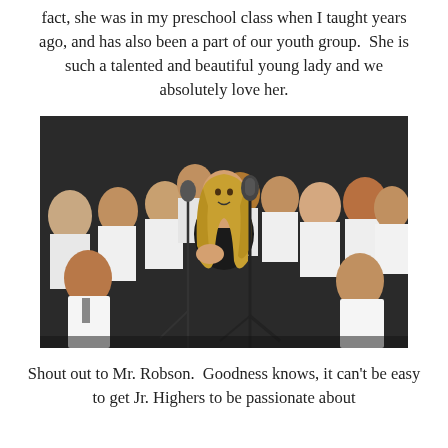fact, she was in my preschool class when I taught years ago, and has also been a part of our youth group.  She is such a talented and beautiful young lady and we absolutely love her.
[Figure (photo): A teenage girl with long blonde hair wearing a black dress sings into a microphone on stage, with her hand on her chest. Behind her stand many children in white shirts, appearing to be a choir.]
Shout out to Mr. Robson.  Goodness knows, it can't be easy to get Jr. Highers to be passionate about